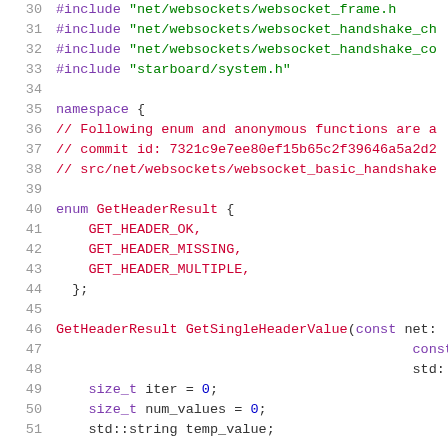Source code listing lines 30-51, C++ file with websocket and enum GetHeaderResult code